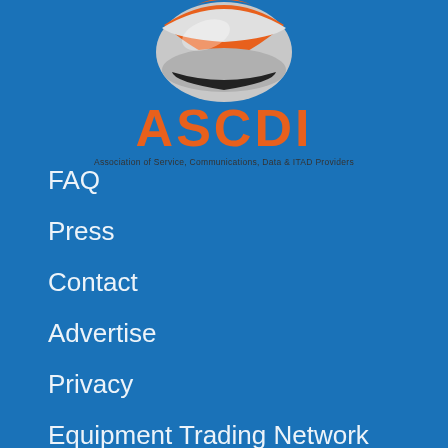[Figure (logo): ASCDI logo with globe graphic above the text. Globe has orange, white, and black/dark coloring. Below the globe is the text ASCDI in large orange bold letters. Tagline reads: Association of Service, Communications, Data & ITAD Providers]
FAQ
Press
Contact
Advertise
Privacy
Equipment Trading Network